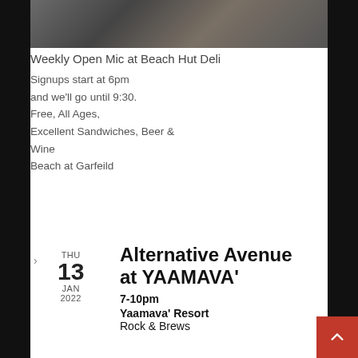[Figure (photo): Photo of Beach Hut Deli outdoor area, partial top portion visible]
Weekly Open Mic at Beach Hut Deli
Signups start at 6pm and we'll go until 9:30. Free, All Ages, Excellent Sandwiches, Beer & Wine
Beach at Garfeild
THU 13 JAN 2022
Alternative Avenue at YAAMAVA'
7-10pm
Yaamava' Resort
Rock & Brews